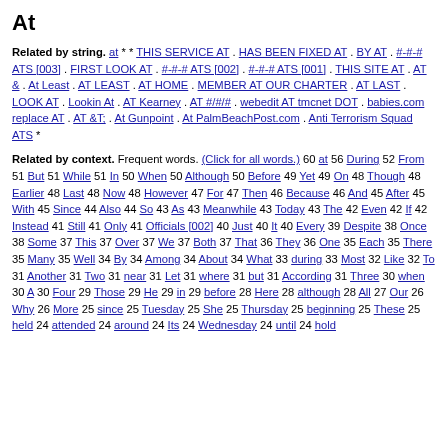At
Related by string. at * * THIS SERVICE AT . HAS BEEN FIXED AT . BY AT . #-#-# ATS [003] . FIRST LOOK AT . #-#-# ATS [002] . #-#-# ATS [001] . THIS SITE AT . AT & . At Least . AT LEAST . AT HOME . MEMBER AT OUR CHARTER . AT LAST . LOOK AT . Lookin At . AT Kearney . AT #/#/# . webedit AT tmcnet DOT . babies.com replace AT . AT &T; . At Gunpoint . At PalmBeachPost.com . Anti Terrorism Squad ATS *
Related by context. Frequent words. (Click for all words.) 60 at 56 During 52 From 51 But 51 While 51 In 50 When 50 Although 50 Before 49 Yet 49 On 48 Though 48 Earlier 48 Last 48 Now 48 However 47 For 47 Then 46 Because 46 And 45 After 45 With 45 Since 44 Also 44 So 43 As 43 Meanwhile 43 Today 43 The 42 Even 42 If 42 Instead 41 Still 41 Only 41 Officials [002] 40 Just 40 It 40 Every 39 Despite 38 Once 38 Some 37 This 37 Over 37 We 37 Both 37 That 36 They 36 One 35 Each 35 There 35 Many 35 Well 34 By 34 Among 34 About 34 What 33 during 33 Most 32 Like 32 To 31 Another 31 Two 31 near 31 Let 31 where 31 but 31 According 31 Three 30 when 30 A 30 Four 29 Those 29 He 29 in 29 before 28 Here 28 although 28 All 27 Our 26 Why 26 More 25 since 25 Tuesday 25 She 25 Thursday 25 beginning 25 These 25 held 24 attended 24 around 24 Its 24 Wednesday 24 until 24 hold